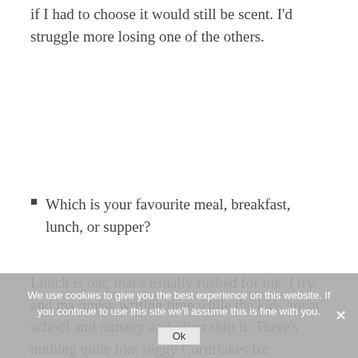if I had to choose it would still be scent. I'd struggle more losing one of the others.
Which is your favourite meal, breakfast, lunch, or supper?
Lunch is out, that's usually rushed for me. I try and maximise writing time while the kids are at school and nursery and often skip it. There's nothing quite like soggy Cornflakes for breakfast and
We use cookies to give you the best experience on this website. If you continue to use this site we'll assume this is fine with you.
Ok